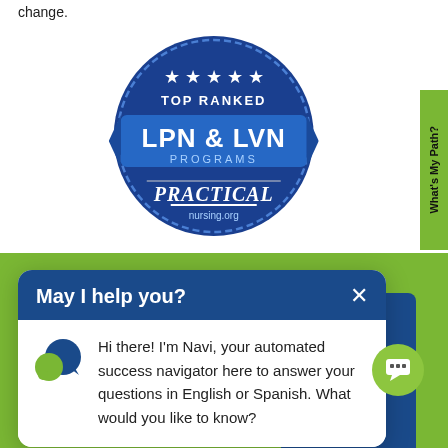change.
[Figure (logo): Top Ranked LPN & LVN Programs badge from PracticalNursing.org — circular dark blue badge with stars and a blue ribbon banner]
[Figure (other): Side tab: green vertical tab reading 'What's My Path?']
May I help you? ×
Hi there! I'm Navi, your automated success navigator here to answer your questions in English or Spanish. What would you like to know?
Employment